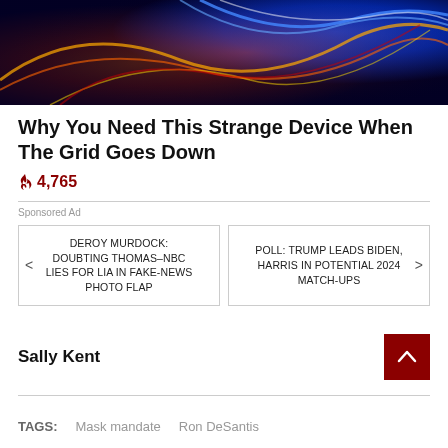[Figure (photo): Colorful abstract swirling light art image with red, orange, yellow, and blue hues on dark background]
Why You Need This Strange Device When The Grid Goes Down
🔥 4,765
Sponsored Ad
< DEROY MURDOCK: DOUBTING THOMAS– NBC LIES FOR LIA IN FAKE-NEWS PHOTO FLAP
POLL: TRUMP LEADS BIDEN, HARRIS IN POTENTIAL 2024 MATCH-UPS >
Sally Kent
TAGS:   Mask mandate   Ron DeSantis